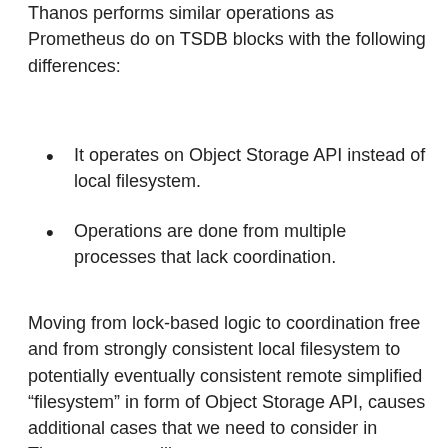Thanos performs similar operations as Prometheus do on TSDB blocks with the following differences:
It operates on Object Storage API instead of local filesystem.
Operations are done from multiple processes that lack coordination.
Moving from lock-based logic to coordination free and from strongly consistent local filesystem to potentially eventually consistent remote simplified “filesystem” in form of Object Storage API, causes additional cases that we need to consider in Thanos system, like:
Thanos sidecar or compactor crashes during the process of uploading the block. It uploaded some index & block files, but not the